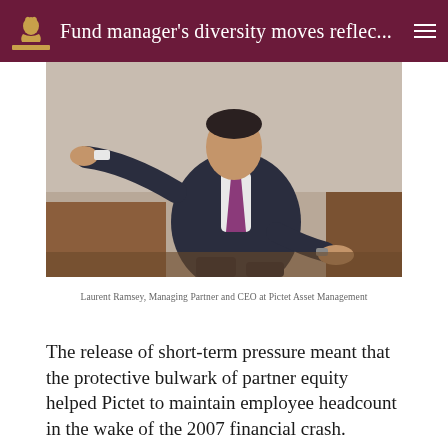Fund manager's diversity moves reflec...
[Figure (photo): Laurent Ramsey, Managing Partner and CEO at Pictet Asset Management, seated on a leather sofa gesturing with his right arm extended, wearing a dark suit and purple tie with a watch on his left wrist.]
Laurent Ramsey, Managing Partner and CEO at Pictet Asset Management
The release of short-term pressure meant that the protective bulwark of partner equity helped Pictet to maintain employee headcount in the wake of the 2007 financial crash.